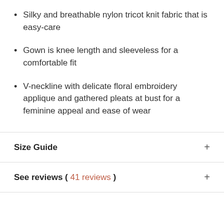Silky and breathable nylon tricot knit fabric that is easy-care
Gown is knee length and sleeveless for a comfortable fit
V-neckline with delicate floral embroidery applique and gathered pleats at bust for a feminine appeal and ease of wear
Size Guide
See reviews ( 41 reviews )